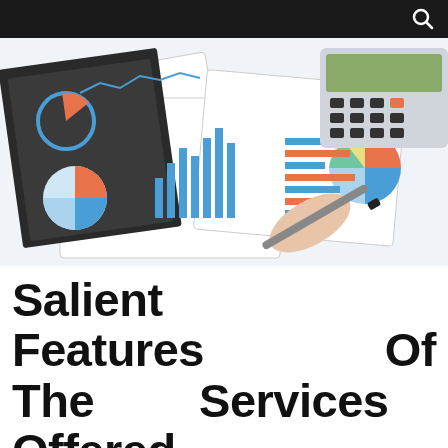[Figure (photo): Overhead view of a desk with financial charts (pie charts, bar charts), a calculator, and a hand holding a pen over the charts.]
Salient Features Of The Services Offered By Whiteroom-